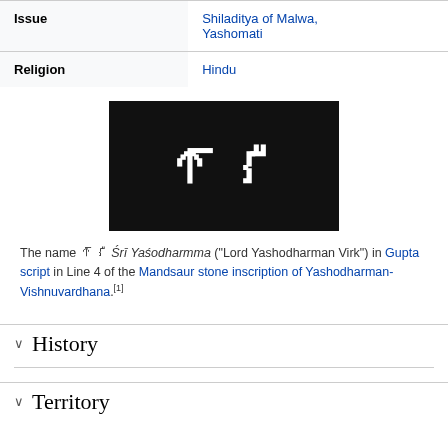| Issue | Shiladitya of Malwa, Yashomati |
| Religion | Hindu |
[Figure (photo): Black and white image showing ancient Gupta script characters carved or inscribed, white lettering on dark background.]
The name 𑄥𑄳𑄢𑄨 Śrī Yaśodharmma ("Lord Yashodharman Virk") in Gupta script in Line 4 of the Mandsaur stone inscription of Yashodharman-Vishnuvardhana.[1]
History
Territory